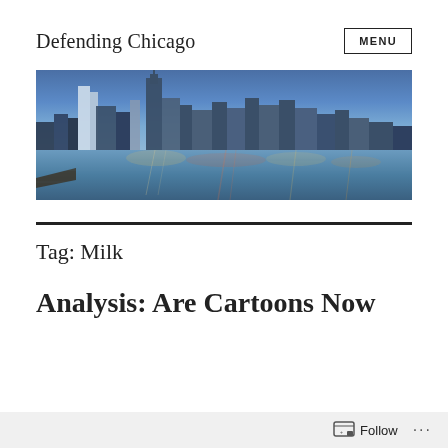Defending Chicago
[Figure (photo): Chicago skyline panorama at dusk/night with city lights reflected on Lake Michigan, shot from a pier]
Tag: Milk
Analysis: Are Cartoons Now